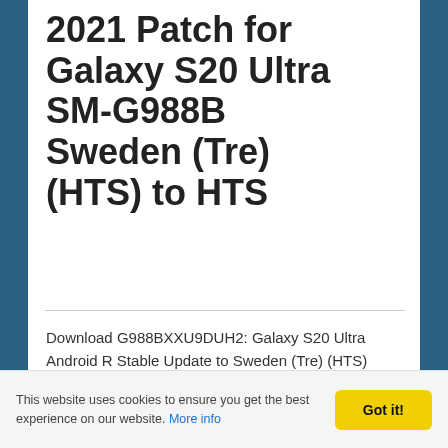2021 Patch for Galaxy S20 Ultra SM-G988B Sweden (Tre) (HTS) to HTS
Download G988BXXU9DUH2: Galaxy S20 Ultra Android R Stable Update to Sweden (Tre) (HTS) – HTS
READ MORE
This website uses cookies to ensure you get the best experience on our website. More info
Got it!